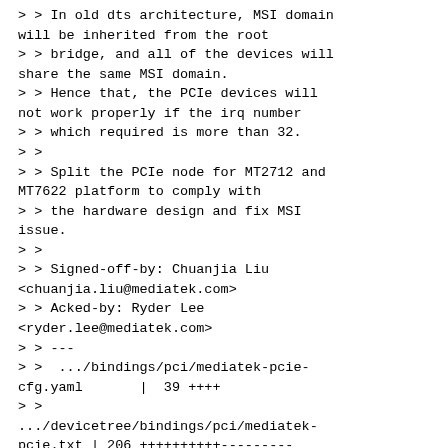> > In old dts architecture, MSI domain will be inherited from the root
> > bridge, and all of the devices will share the same MSI domain.
> > Hence that, the PCIe devices will not work properly if the irq number
> > which required is more than 32.
> >
> > Split the PCIe node for MT2712 and MT7622 platform to comply with
> > the hardware design and fix MSI issue.
> >
> > Signed-off-by: Chuanjia Liu <chuanjia.liu@mediatek.com>
> > Acked-by: Ryder Lee <ryder.lee@mediatek.com>
> > ---
> >  .../bindings/pci/mediatek-pcie-cfg.yaml       |  39 ++++
> >
.../devicetree/bindings/pci/mediatek-pcie.txt | 206 ++++++++++---------
> >  2 files changed, 150 insertions(+), 95 deletions(-)
> >  create mode 100644 Documentation/devicetree/bindings/pci/med pcie-cfg.yaml
> >
>